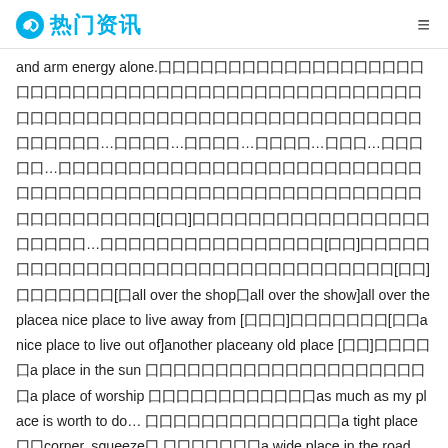热门资讯
and arm energy alone.囗囗囗囗囗囗囗囗囗囗囗囗囗囗囗囗囗囗囗囗囗囗囗囗囗囗囗囗囗囗囗囗囗囗囗囗囗囗囗囗囗囗囗囗囗囗囗囗囗囗囗囗囗囗囗囗囗囗囗囗囗囗囗囗囗囗囗囗囗囗囗囗囗囗囗囗囗囗囗…囗囗囗囗…囗囗囗囗…囗囗囗囗…囗囗囗…囗囗囗囗囗…囗囗囗囗囗囗囗囗囗囗囗囗囗囗囗囗囗囗囗囗囗囗囗囗囗囗囗囗囗囗囗囗囗囗囗囗囗囗囗囗囗囗囗囗囗囗囗囗囗囗囗囗囗囗囗囗囗囗囗囗囗囗囗囗囗[囗囗]囗囗囗囗囗囗囗囗囗囗囗囗囗囗囗囗囗囗囗囗囗囗…囗囗囗囗囗囗囗囗囗囗囗囗囗囗囗囗囗囗[囗囗]囗囗囗囗囗囗囗囗囗囗囗囗囗囗囗囗囗囗囗囗囗囗囗囗囗囗囗囗囗囗囗囗[囗囗]囗囗囗囗囗囗囗[囗all over the shop囗all over the show]all over the placea nice place to live away from [囗囗囗]囗囗囗囗囗囗囗[囗囗a nice place to live out of]another placeany old place [囗囗]囗囗囗囗囗a place in the sun 囗囗囗囗囗囗囗囗囗囗囗囗囗囗囗囗囗囗囗囗囗a place of worship 囗囗囗囗囗囗囗囗囗囗囗囗as much as my place is worth to do… 囗囗囗囗囗囗囗囗囗囗囗囗囗囗a tight place 囗囗corner, squeeze囗 囗囗囗囗囗囗囗a wide place in the road [囗囗囗囗]囗囗囗be no place for 囗囗…囗囗囗囗囗囗…囗囗囗be placed 囗囗囗囗囗囗囗囗between a rock and a hard place 囗囗囗囗囗囗囗囗囗囗囗囗囗囗囗囗囗囗囗囗囗囗囗囗囗囗囗囗囗囗囗囗囗囗囗囗囗between the devil and the deep